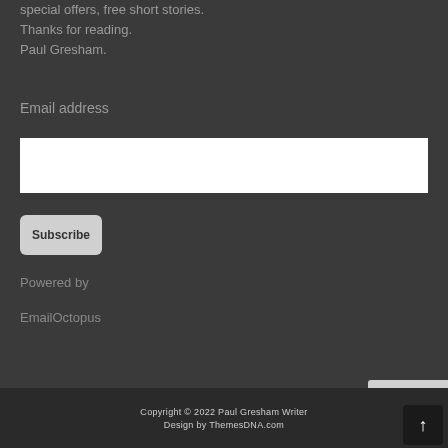special offers, free short stories.
Thanks for reading.
Paul Gresham.
Email address
[Figure (other): White input field for email address]
[Figure (other): Subscribe button with rounded corners and bold text]
Powered by
EmailOctopus
Copyright © 2022 Paul Gresham Writer
Design by ThemesDNA.com